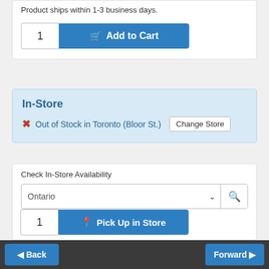Product ships within 1-3 business days.
[Figure (screenshot): Add to Cart button with quantity box showing '1' and blue 'Add to Cart' button with cart icon]
In-Store
✗ Out of Stock in Toronto (Bloor St.) [Change Store button]
Check In-Store Availability
[Figure (screenshot): Province dropdown showing 'Ontario' with caret and search icon button]
[Figure (screenshot): Pick Up in Store button with quantity box showing '1' and blue 'Pick Up in Store' button with pin icon]
◀ Back    Forward ▶